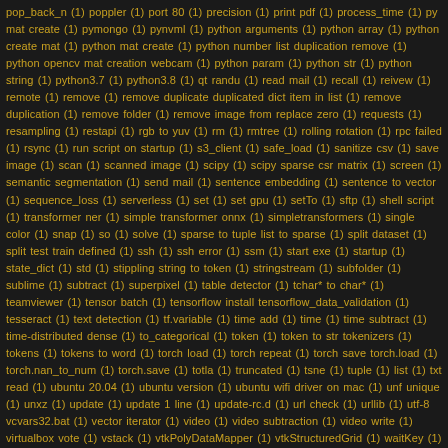pop_back_n (1) poppler (1) port 80 (1) precision (1) print pdf (1) process_time (1) py mat create (1) pymongo (1) pynvml (1) python arguments (1) python array (1) python create mat (1) python mat create (1) python number list duplication remove (1) python opencv mat creation webcam (1) python param (1) python str (1) python string (1) python3.7 (1) python3.8 (1) qt randu (1) read mail (1) recall (1) reivew (1) remote (1) remove (1) remove duplicate duplicated dict item in list (1) remove duplication (1) remove folder (1) remove image from replace zero (1) requests (1) resampling (1) restapi (1) rgb to yuv (1) rm (1) rmtree (1) rolling rotation (1) rpc failed (1) rsync (1) run script on startup (1) s3_client (1) safe_load (1) sanitize csv (1) save image (1) scan (1) scanned image (1) scipy (1) scipy sparse csr matrix (1) screen (1) semantic segmentation (1) send mail (1) sentence embedding (1) sentence to vector (1) sequence_loss (1) serverless (1) set (1) set gpu (1) setTo (1) sftp (1) shell script (1) transformer ner (1) simple transformer onnx (1) simpletransformers (1) single color (1) snap (1) so (1) solve (1) sparse to tuple list to sparse (1) split dataset (1) split test train defined (1) ssh (1) ssh error (1) ssm (1) start exe (1) startup (1) state_dict (1) std (1) stippling string to token (1) stringstream (1) subfolder (1) sublime (1) subtract (1) superpixel (1) table detector (1) tchar* to char* (1) teamviewer (1) tensor batch (1) tensorflow install tensorflow_data_validation (1) tesseract (1) text detection (1) tf.variable (1) time add (1) time (1) time subtract (1) time-distributed dense (1) to_categorical (1) token (1) token to str tokenizers (1) tokens (1) tokens to word (1) torch load (1) torch repeat (1) torch save torch.load (1) torch.nan_to_num (1) torch.save (1) totla (1) truncated (1) tsne (1) tuple (1) list (1) txt read (1) ubuntu 20.04 (1) ubuntu version (1) ubuntu wifi driver on mac (1) unf unique (1) unxz (1) update (1) update 1 line (1) update-rc.d (1) url check (1) urllib (1) utf-8 vcvars32.bat (1) vector iterator (1) video (1) video subtraction (1) video write (1) virtualbox vote (1) vstack (1) vtkPolyDataMapper (1) vtkStructuredGrid (1) waitKey (1) warpAffine (1) warping (1) wchar_t (1) weasyprint (1) webcam (1) website response (1) wget (1)